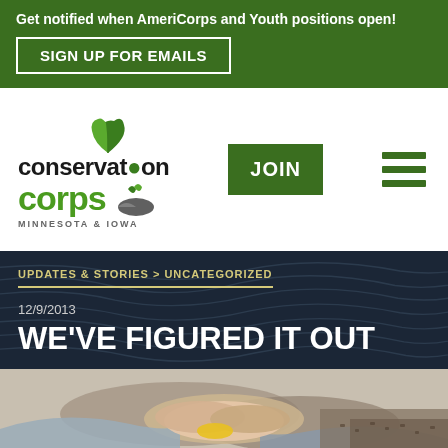Get notified when AmeriCorps and Youth positions open!
SIGN UP FOR EMAILS
[Figure (logo): Conservation Corps Minnesota & Iowa logo with green plant sprout icon]
JOIN
UPDATES & STORIES > UNCATEGORIZED
12/9/2013
WE'VE FIGURED IT OUT
[Figure (photo): Close-up photo of hands working with seeds/planting material outdoors]